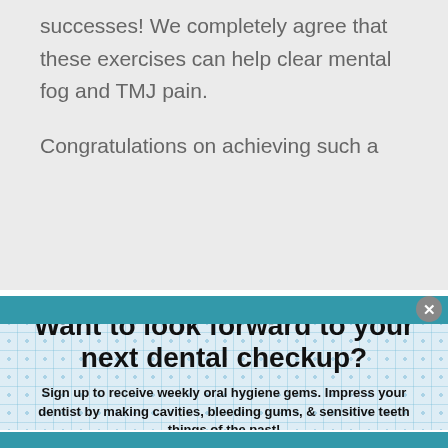successes! We completely agree that these exercises can help clear mental fog and TMJ pain.
Congratulations on achieving such a
Want to look forward to your next dental checkup?
Sign up to receive weekly oral hygiene gems. Impress your dentist by making cavities, bleeding gums, & sensitive teeth things of the past!
Enter your email here
Sign me up :)
We take your privacy very seriously and will never sell, trade, or abuse your information.